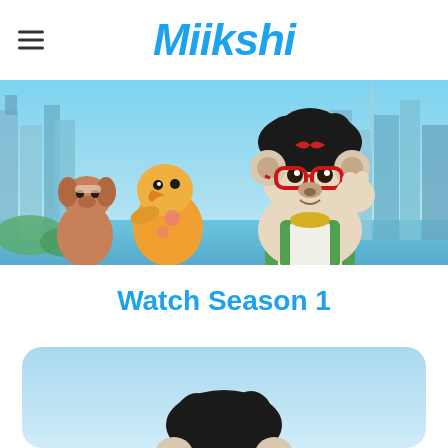Miikshi
[Figure (photo): Promotional image for Miikshi show featuring puppet characters (brown dog, yellow duck/fish, and a bear with black curly hair and red glasses) against a city skyline background]
Watch Season 1
[Figure (photo): Partial image showing a puppet character with orange/red glasses against a light blue sky background, displayed in a rounded card]